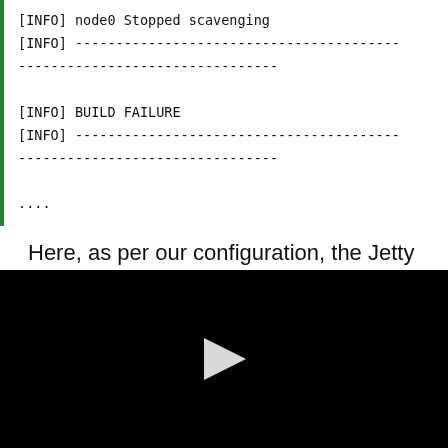[INFO] node0 Stopped scavenging
[INFO] ----------------------------------------
--------------------------------

[INFO] BUILD FAILURE
[INFO] ----------------------------------------
--------------------------------

....
Here, as per our configuration, the Jetty server starts prior to the integration test execution. For demonstration, we have a failing integration test, but this does not fail
[Figure (other): Black video player area with a white play button triangle in the center]